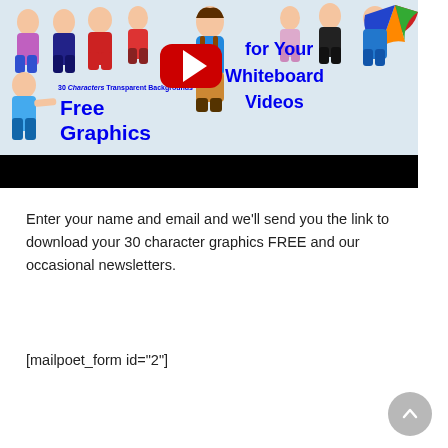[Figure (screenshot): YouTube video thumbnail showing cartoon characters with text 'Free Graphics for Your Whiteboard Videos' and a YouTube play button. Below the thumbnail is a black bar (video progress/controls area).]
Enter your name and email and we'll send you the link to download your 30 character graphics FREE and our occasional newsletters.
[mailpoet_form id="2"]